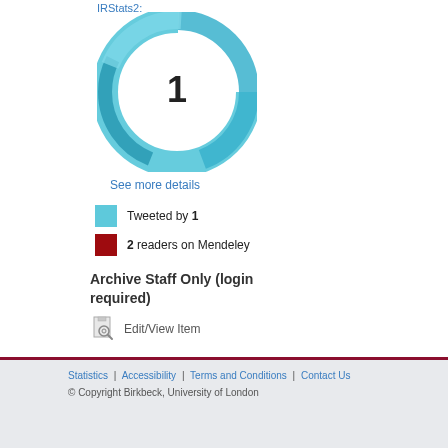IRStats2:
[Figure (donut-chart): Altmetric donut chart showing score of 1, with teal/blue swirling ring design]
See more details
Tweeted by 1
2 readers on Mendeley
Archive Staff Only (login required)
Edit/View Item
Statistics | Accessibility | Terms and Conditions | Contact Us © Copyright Birkbeck, University of London